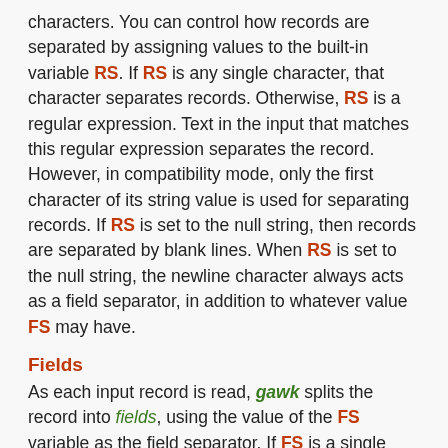characters. You can control how records are separated by assigning values to the built-in variable RS. If RS is any single character, that character separates records. Otherwise, RS is a regular expression. Text in the input that matches this regular expression separates the record. However, in compatibility mode, only the first character of its string value is used for separating records. If RS is set to the null string, then records are separated by blank lines. When RS is set to the null string, the newline character always acts as a field separator, in addition to whatever value FS may have.
Fields
As each input record is read, gawk splits the record into fields, using the value of the FS variable as the field separator. If FS is a single character, fields are separated by that character.